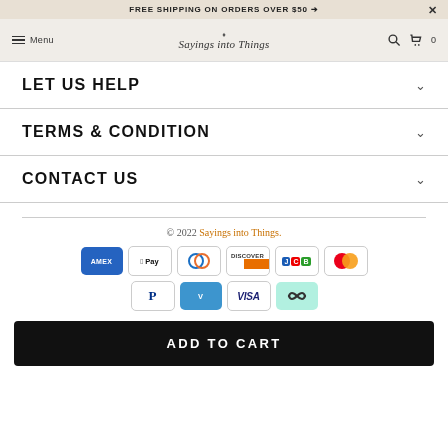FREE SHIPPING ON ORDERS OVER $50 ➔
Menu | Sayings into Things | 0
LET US HELP
TERMS & CONDITION
CONTACT US
© 2022 Sayings into Things.
[Figure (other): Payment method icons: American Express, Apple Pay, Diners Club, Discover, JCB, Mastercard, PayPal, Venmo, Visa, Loop]
ADD TO CART